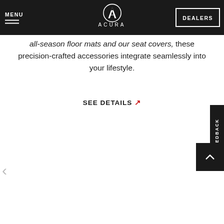MENU | ACURA | DEALERS
all-season floor mats and our seat covers, these precision-crafted accessories integrate seamlessly into your lifestyle.
SEE DETAILS ↗
FEEDBACK
▲